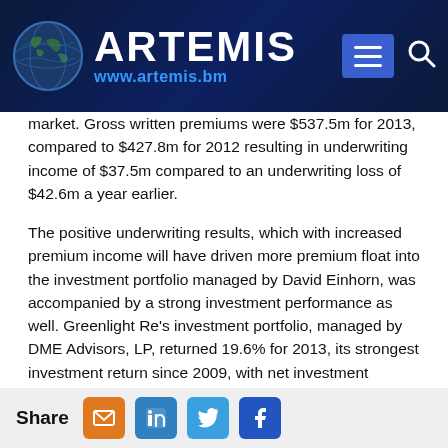ARTEMIS www.artemis.bm
market. Gross written premiums were $537.5m for 2013, compared to $427.8m for 2012 resulting in underwriting income of $37.5m compared to an underwriting loss of $42.6m a year earlier.
The positive underwriting results, which with increased premium income will have driven more premium float into the investment portfolio managed by David Einhorn, was accompanied by a strong investment performance as well. Greenlight Re's investment portfolio, managed by DME Advisors, LP, returned 19.6% for 2013, its strongest investment return since 2009, with net investment income hitting $218.1m, compared to $78.9m in 2012.
“We are pleased that we experienced positive results from both our underwriting and investing operations during the quarter,” said Bart Hedges, Chief Executive Officer of Greenlight Re. “Our
Share